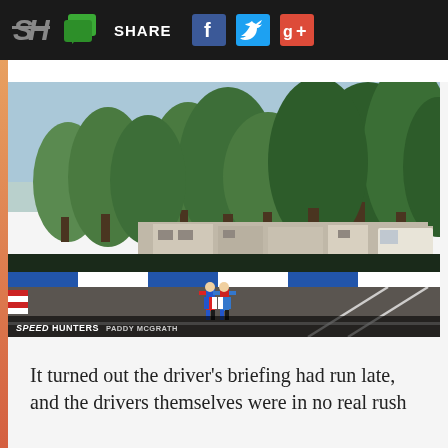SH | SHARE | Facebook | Twitter | Google+
[Figure (photo): Two race drivers in colorful racing suits walking on a motorsport track with trees and pit facilities in the background. The SPEEDHUNTERS watermark with photographer credit PADDY MCGRATH appears in the bottom left corner.]
It turned out the driver's briefing had run late, and the drivers themselves were in no real rush